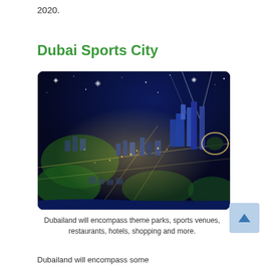2020.
Dubai Sports City
[Figure (photo): Aerial night view of Dubai Sports City development showing illuminated buildings, sports venues, green fields, residential areas, and city lights against a dark blue night sky.]
Dubailand will encompass theme parks, sports venues, restaurants, hotels, shopping and more.
Dubailand will encompass some